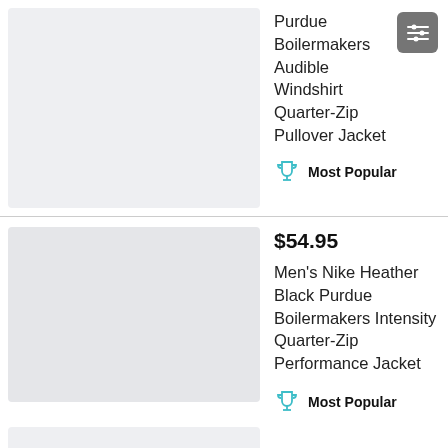Purdue Boilermakers Audible Windshirt Quarter-Zip Pullover Jacket
Most Popular
$54.95
Men's Nike Heather Black Purdue Boilermakers Intensity Quarter-Zip Performance Jacket
Most Popular